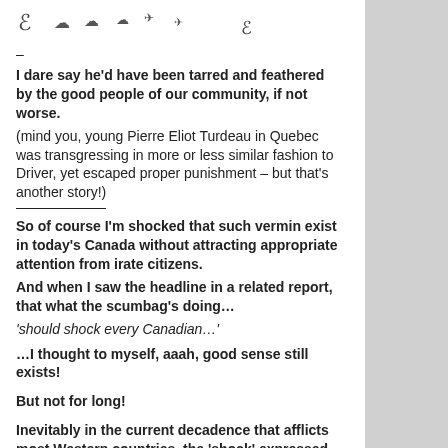[Figure (illustration): Small decorative icons/symbols at top of page]
–
I dare say he'd have been tarred and feathered by the good people of our community, if not worse.
(mind you, young Pierre Eliot Turdeau in Quebec was transgressing in more or less similar fashion to Driver, yet escaped proper punishment – but that's another story!)
So of course I'm shocked that such vermin exist in today's Canada without attracting appropriate attention from irate citizens.
And when I saw the headline in a related report, that what the scumbag's doing…
'should shock every Canadian…'
…I thought to myself, aaah, good sense still exists!
But not for long!
Inevitably in the current decadence that afflicts most Western countries, the 'shock' expressed